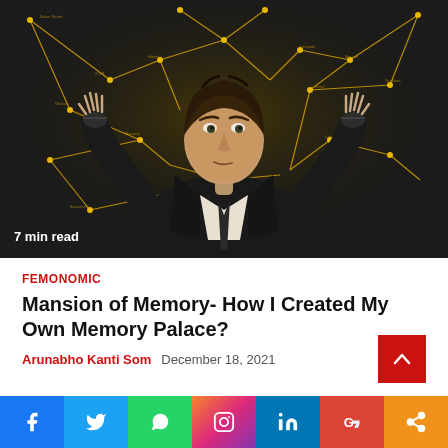[Figure (illustration): Digital illustration of a Sherlock Holmes-like figure in a dark suit with hands raised, surrounded by glowing golden network/mind map lines and text annotations on a dark background. Text overlay: '7 min read']
FEMONOMIC
Mansion of Memory- How I Created My Own Memory Palace?
Arunabho Kanti Som   December 18, 2021